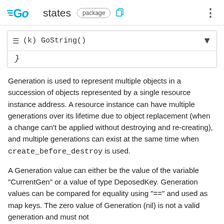GO states package
(k) GoString()
}
Generation is used to represent multiple objects in a succession of objects represented by a single resource instance address. A resource instance can have multiple generations over its lifetime due to object replacement (when a change can't be applied without destroying and re-creating), and multiple generations can exist at the same time when create_before_destroy is used.
A Generation value can either be the value of the variable "CurrentGen" or a value of type DeposedKey. Generation values can be compared for equality using "==" and used as map keys. The zero value of Generation (nil) is not a valid generation and must not